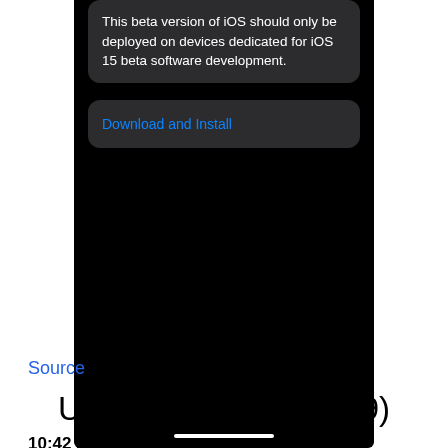[Figure (screenshot): iOS Settings screenshot on black background showing a warning message 'This beta version of iOS should only be deployed on devices dedicated for iOS 15 beta software development.' and a 'Download and Install' button in blue text on dark background, with a white home indicator bar at the bottom.]
Source
Update 24 (August 19)
10:42 am (IST): Now reports now indicate